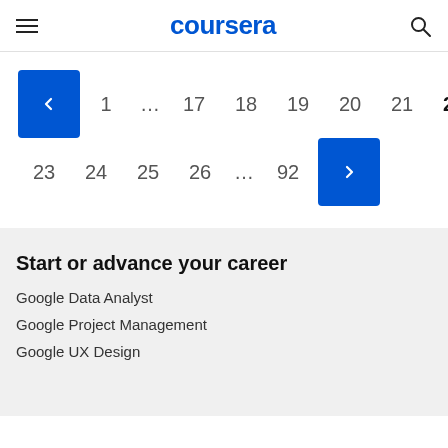coursera
[Figure (screenshot): Pagination navigation with previous button (left arrow), page numbers 1, ..., 17, 18, 19, 20, 21, 22 on first row; page numbers 23, 24, 25, 26, ..., 92 with next button (right arrow) on second row. Page 22 is highlighted in bold. Navigation buttons are blue.]
Start or advance your career
Google Data Analyst
Google Project Management
Google UX Design